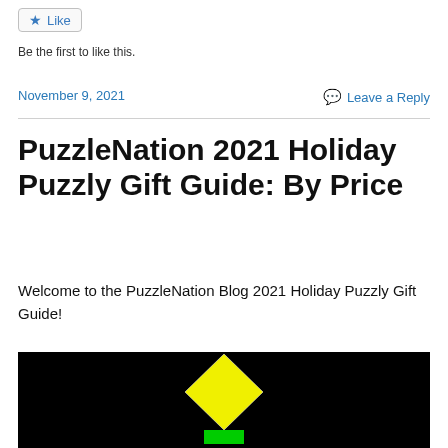Like
Be the first to like this.
November 9, 2021
Leave a Reply
PuzzleNation 2021 Holiday Puzzly Gift Guide: By Price
Welcome to the PuzzleNation Blog 2021 Holiday Puzzly Gift Guide!
[Figure (illustration): Black background image with a yellow diamond/rhombus shape on top of a small green rectangle, resembling a trophy or award icon.]